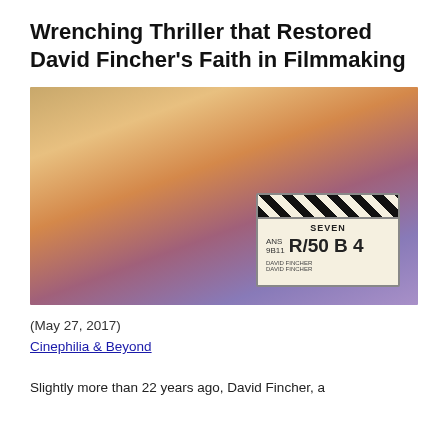Wrenching Thriller that Restored David Fincher's Faith in Filmmaking
[Figure (photo): Brad Pitt holding a film clapperboard from the movie Seven on set, against a warm orange-purple sky background]
(May 27, 2017)
Cinephilia & Beyond
Slightly more than 22 years ago, David Fincher, a